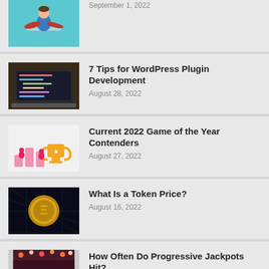[Figure (illustration): Cartoon person sitting cross-legged meditating with laptop in background, teal/blue background]
September 1, 2022
[Figure (photo): Laptop screen showing code editor in dark mode, on wooden desk]
7 Tips for WordPress Plugin Development
August 28, 2022
[Figure (illustration): Trophy cup illustration with small figures and colorful bar charts]
Current 2022 Game of the Year Contenders
August 27, 2022
[Figure (illustration): Dark background with gold coin showing Enjin token logo]
What Is a Token Price?
August 16, 2022
[Figure (photo): Person holding cash near slot machines in casino]
How Often Do Progressive Jackpots Hit?
August 10, 2022